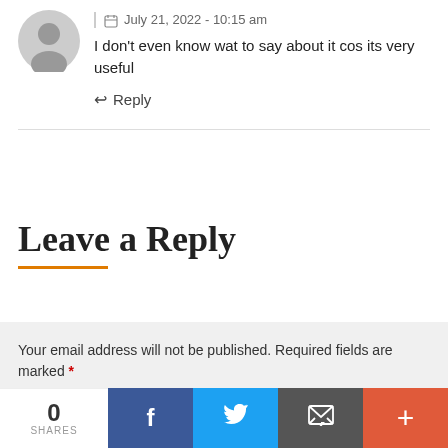speedygadget
July 21, 2022 - 10:15 am
I don't even know wat to say about it cos its very useful
Reply
Leave a Reply
Your email address will not be published. Required fields are marked *
NAME*